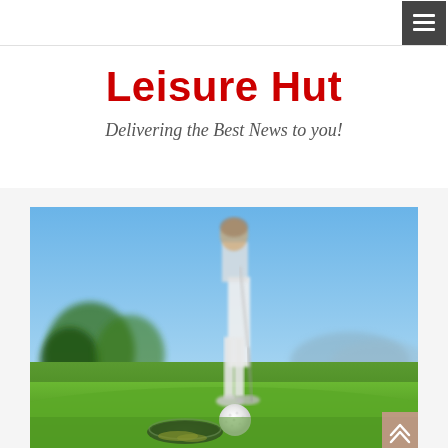[hamburger menu icon]
Leisure Hut
Delivering the Best News to you!
[Figure (photo): A golfer putting on a golf course green, photographed from ground level near the hole showing a golf ball on the green with the golfer standing in the background against a blue sky]